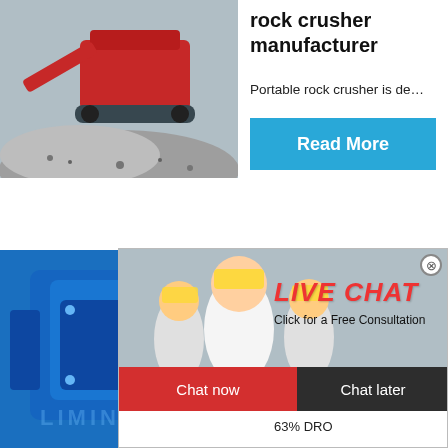[Figure (photo): Rock crusher machine in operation outdoors, with gravel pile]
rock crusher manufacturer
Portable rock crusher is de…
[Figure (other): Read More button (blue)]
[Figure (photo): Blue jaw crusher machine, LIMING brand]
[Figure (photo): Live Chat popup overlay with workers in hard hats, Chat now and Chat later buttons]
[Figure (photo): Cone crusher machine on right panel]
hour online
63% DRO
Read
Click me to chat>>
Enquiry
limingjlmofen